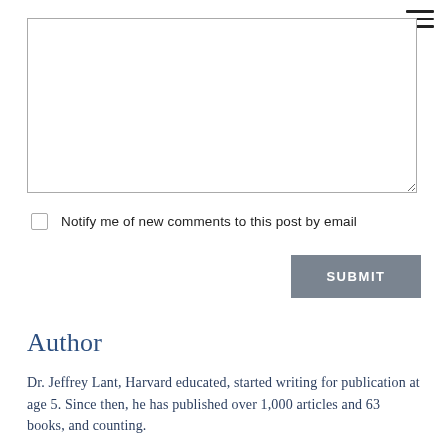[Figure (screenshot): Textarea input box for comment submission]
Notify me of new comments to this post by email
SUBMIT
Author
Dr. Jeffrey Lant, Harvard educated, started writing for publication at age 5. Since then, he has published over 1,000 articles and 63 books, and counting.